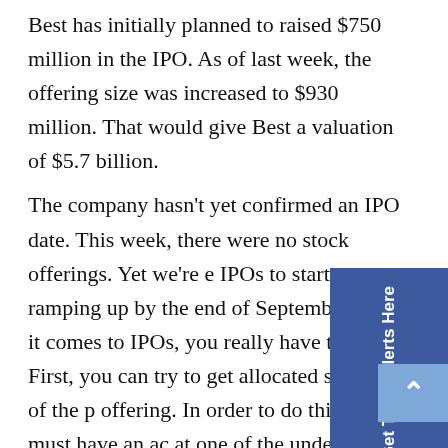Best has initially planned to raised $750 million in the IPO. As of last week, the offering size was increased to $930 million. That would give Best a valuation of $5.7 billion.
The company hasn't yet confirmed an IPO date. This week, there were no stock offerings. Yet we're expecting IPOs to start ramping up by the end of September. When it comes to IPOs, you really have three choices. First, you can try to get allocated shares of the primary offering. In order to do this, you must have an account at one of the underwriters and must be a preferred client (meaning you must be rich).
Second, you can wait for these stocks to start trading on the NASDAQ or NYSE. The problem is that once these stocks begin trading, many have already
[Figure (other): Blue sidebar button with text 'Get Trade Alerts Here' rotated vertically]
[Figure (other): Light blue scroll-to-top button with upward chevron arrow]